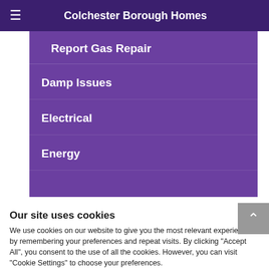Colchester Borough Homes
Report Gas Repair
Damp Issues
Electrical
Energy
Our site uses cookies
We use cookies on our website to give you the most relevant experience by remembering your preferences and repeat visits. By clicking "Accept All", you consent to the use of all the cookies. However, you can visit "Cookie Settings" to choose your preferences.